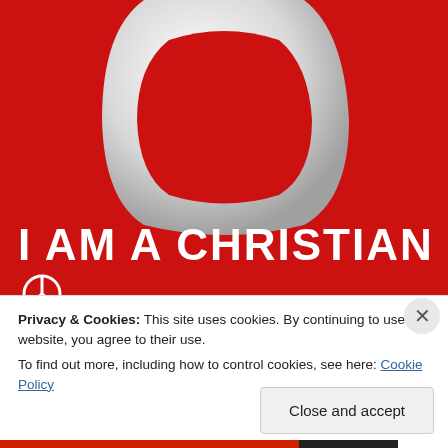[Figure (illustration): Red background image with large white stylized letter O (ring/loop shape) and bold white text 'I AM A CHRISTIAN' at the bottom, with a partial peace symbol logo below the text.]
Privacy & Cookies: This site uses cookies. By continuing to use this website, you agree to their use.
To find out more, including how to control cookies, see here: Cookie Policy
Close and accept